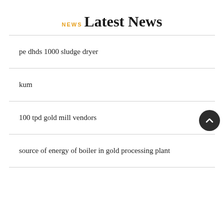NEWS
Latest News
pe dhds 1000 sludge dryer
kum
100 tpd gold mill vendors
source of energy of boiler in gold processing plant